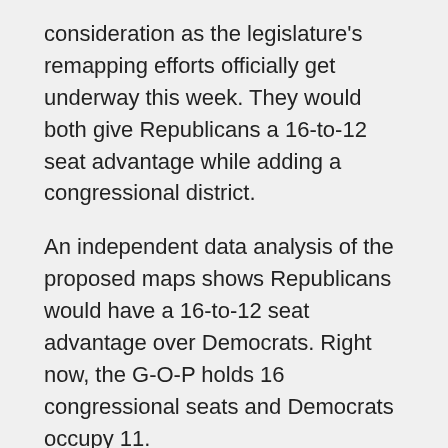consideration as the legislature's remapping efforts officially get underway this week. They would both give Republicans a 16-to-12 seat advantage while adding a congressional district.
An independent data analysis of the proposed maps shows Republicans would have a 16-to-12 seat advantage over Democrats. Right now, the G-O-P holds 16 congressional seats and Democrats occupy 11.
Once the Senate finalizes its plan for the state's congressional districts, it will have to hammer out its differences with the House plan.
Long-time Florida redistricting data analyst Matthew Isbell says the House map would give Republicans at least a 17-to-18 seat advantage.
“Right now, the Senate has a plan that is very fair